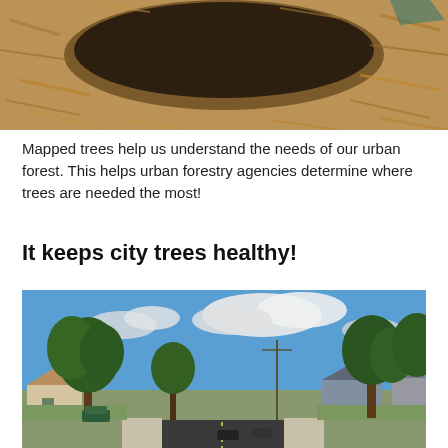[Figure (photo): Top-down view of soil and wood chip mulch around the base of a tree planting]
Mapped trees help us understand the needs of our urban forest. This helps urban forestry agencies determine where trees are needed the most!
It keeps city trees healthy!
[Figure (photo): Street-level view of a suburban neighborhood with large mature trees lining both sides of a road, blue sky with clouds, houses visible in the background]